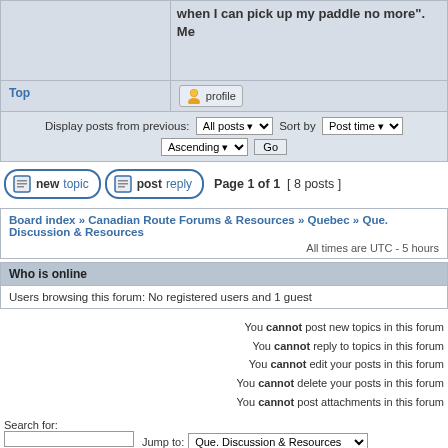when I can pick up my paddle no more". Me
Top
[Figure (screenshot): Profile button with user icon]
Display posts from previous: All posts Sort by Post time Ascending Go
[Figure (screenshot): New topic button]
[Figure (screenshot): Post reply button]
Page 1 of 1 [ 8 posts ]
Board index » Canadian Route Forums & Resources » Quebec » Que. Discussion & Resources
All times are UTC - 5 hours
Who is online
Users browsing this forum: No registered users and 1 guest
You cannot post new topics in this forum
You cannot reply to topics in this forum
You cannot edit your posts in this forum
You cannot delete your posts in this forum
You cannot post attachments in this forum
Search for:
Jump to: Que. Discussion & Resources
Go
Powered by phpBB® Forum Software © phpBB Group